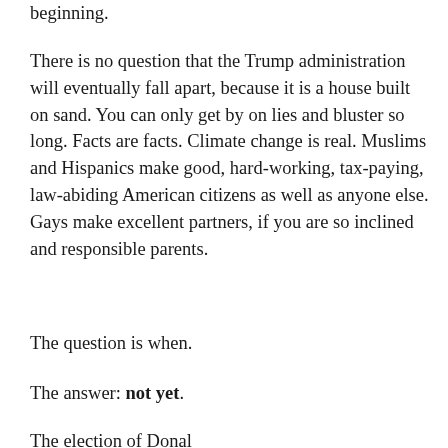beginning.
There is no question that the Trump administration will eventually fall apart, because it is a house built on sand. You can only get by on lies and bluster so long. Facts are facts. Climate change is real. Muslims and Hispanics make good, hard-working, tax-paying, law-abiding American citizens as well as anyone else. Gays make excellent partners, if you are so inclined and responsible parents.
The question is when.
The answer: not yet.
The election of Donal...